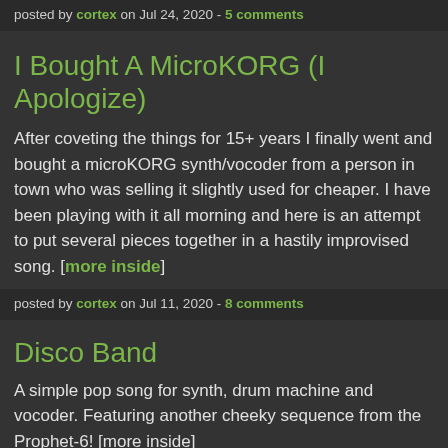posted by cortex on Jul 24, 2020 - 5 comments
I Bought A MicroKORG (I Apologize)
After coveting the things for 15+ years I finally went and bought a microKORG synth/vocoder from a person in town who was selling it slightly used for cheaper. I have been playing with it all morning and here is an attempt to put several pieces together in a hastily improvised song. [more inside]
posted by cortex on Jul 11, 2020 - 8 comments
Disco Band
A simple pop song for synth, drum machine and vocoder. Featuring another cheeky sequence from the Prophet-6! [more inside]